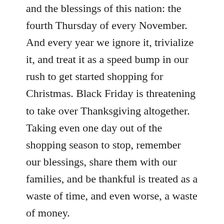and the blessings of this nation: the fourth Thursday of every November. And every year we ignore it, trivialize it, and treat it as a speed bump in our rush to get started shopping for Christmas. Black Friday is threatening to take over Thanksgiving altogether. Taking even one day out of the shopping season to stop, remember our blessings, share them with our families, and be thankful is treated as a waste of time, and even worse, a waste of money.
Isn't that a perfect metaphor for our lives? We rush and rush to acquire more stuff and buy the love of our families and never stop to be grateful for what we already have. Sounds like the perfect recipe for depression.